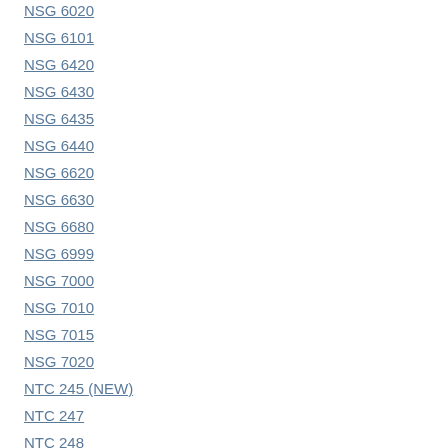NSG 6020
NSG 6101
NSG 6420
NSG 6430
NSG 6435
NSG 6440
NSG 6620
NSG 6630
NSG 6680
NSG 6999
NSG 7000
NSG 7010
NSG 7015
NSG 7020
NTC 245 (NEW)
NTC 247
NTC 248
NTC 249
NTC 300